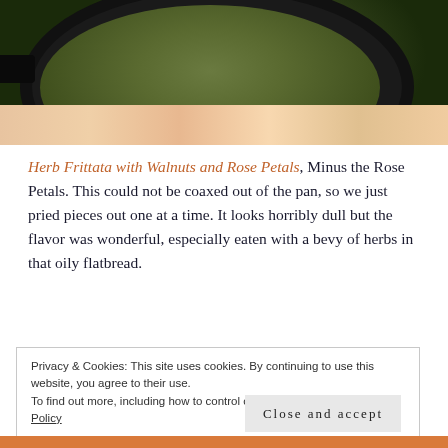[Figure (photo): A herb frittata in a dark cast iron skillet with a colorful floral tablecloth visible underneath. The frittata is green-brown and textured, partially cut/served.]
Herb Frittata with Walnuts and Rose Petals, Minus the Rose Petals. This could not be coaxed out of the pan, so we just pried pieces out one at a time. It looks horribly dull but the flavor was wonderful, especially eaten with a bevy of herbs in that oily flatbread.
Privacy & Cookies: This site uses cookies. By continuing to use this website, you agree to their use.
To find out more, including how to control cookies, see here: Cookie Policy
Close and accept